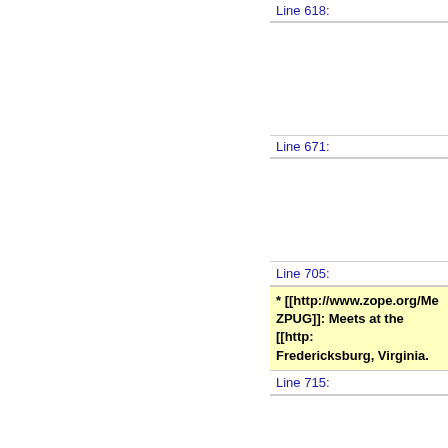Line 618:
Line 671:
Line 705:
* [[http://www.zope.org/Me... ZPUG]]: Meets at the [[http:... Fredericksburg, Virginia.
Line 715:
Line 716: